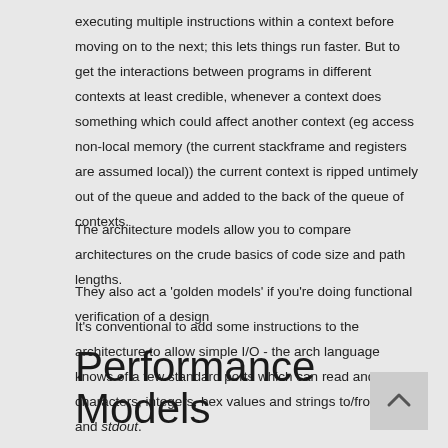executing multiple instructions within a context before moving on to the next; this lets things run faster. But to get the interactions between programs in different contexts at least credible, whenever a context does something which could affect another context (eg access non-local memory (the current stackframe and registers are assumed local)) the current context is ripped untimely out of the queue and added to the back of the queue of contexts.
The architecture models allow you to compare architectures on the crude basics of code size and path lengths.
They also act a 'golden models' if you're doing functional verification of a design
It's conventional to add some instructions to the architecture to allow simple I/O - the arch language knows of a few standard ports which can read and write characters, integers, hex values and strings to/from stdin and stdout.
Performance Models